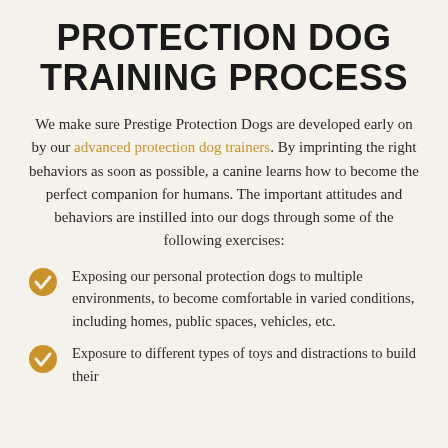PROTECTION DOG TRAINING PROCESS
We make sure Prestige Protection Dogs are developed early on by our advanced protection dog trainers. By imprinting the right behaviors as soon as possible, a canine learns how to become the perfect companion for humans. The important attitudes and behaviors are instilled into our dogs through some of the following exercises:
Exposing our personal protection dogs to multiple environments, to become comfortable in varied conditions, including homes, public spaces, vehicles, etc.
Exposure to different types of toys and distractions to build their